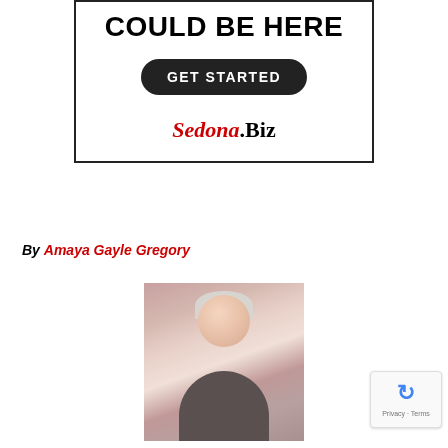[Figure (other): Advertisement box with 'COULD BE HERE', a 'GET STARTED' button, and 'Sedona.Biz' branding]
By Amaya Gayle Gregory
[Figure (photo): Portrait photo of a white-haired woman wearing glasses, smiling, with a Buddha statue visible in the background]